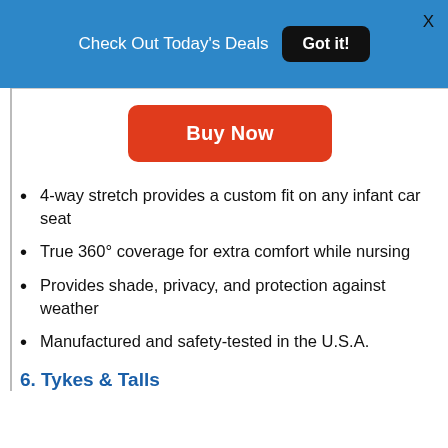Check Out Today's Deals  Got it!  X
[Figure (other): Orange 'Buy Now' button centered on page]
4-way stretch provides a custom fit on any infant car seat
True 360° coverage for extra comfort while nursing
Provides shade, privacy, and protection against weather
Manufactured and safety-tested in the U.S.A.
6. Tykes & Talls